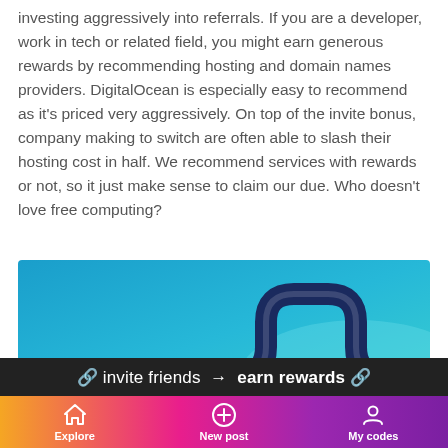investing aggressively into referrals. If you are a developer, work in tech or related field, you might earn generous rewards by recommending hosting and domain names providers. DigitalOcean is especially easy to recommend as it's priced very aggressively. On top of the invite bonus, company making to switch are often able to slash their hosting cost in half. We recommend services with rewards or not, so it just make sense to claim our due. Who doesn't love free computing?
[Figure (illustration): Gradient blue background with a dark blue arrow-like snake/winding shape pointing right, stylized referral/invite graphic]
🔗 invite friends → earn rewards 🔗
[Figure (screenshot): Bottom navigation bar with gradient orange-pink-purple background showing three nav items: Explore (home icon), New post (plus icon), My codes (person icon)]